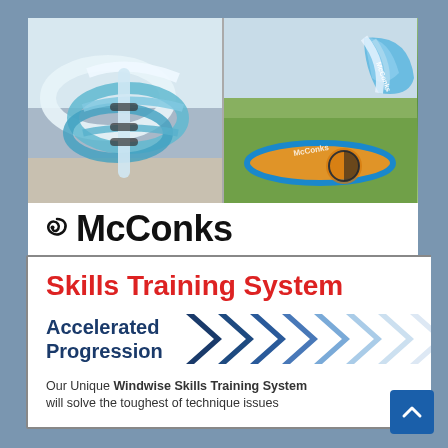[Figure (photo): McConks advertisement card showing two photos: left photo of inflatable wing foil wings (blue/teal), right photo of a windSUP board with wing on grass. Below photos is the McConks logo with spiral icon and brand name, plus tagline 'Wing foil wings, windSUP boards and inflatable sails.']
[Figure (infographic): Skills Training System advertisement with red bold title 'Skills Training System', blue bold 'Accelerated Progression' text with a row of dark-to-light blue chevrons/arrows, and body text 'Our Unique Windwise Skills Training System will solve the toughest of technique issues']